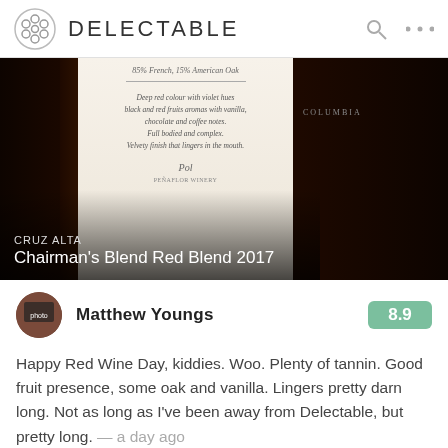DELECTABLE
[Figure (photo): Photo of wine bottles including Cruz Alta Chairman's Blend Red Blend 2017, showing bottle label with text about deep red colour with violet hues, black and red fruits aromas with vanilla, chocolate and coffee notes. Full bodied and complex. Velvety finish that lingers in the mouth.]
CRUZ ALTA
Chairman's Blend Red Blend 2017
Matthew Youngs
8.9
Happy Red Wine Day, kiddies. Woo. Plenty of tannin. Good fruit presence, some oak and vanilla. Lingers pretty darn long. Not as long as I've been away from Delectable, but pretty long. — a day ago
[Figure (photo): Bottom portion of page showing a wine bottle label with year 2017 visible and a glass of red wine on the right side.]